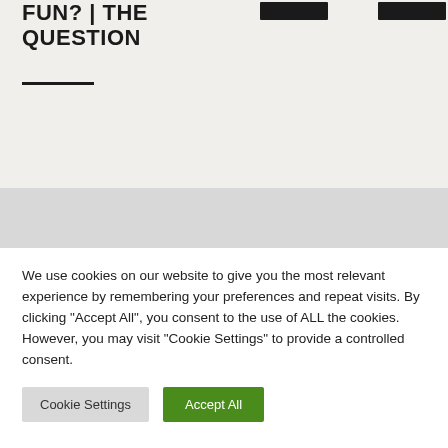FUN? | THE QUESTION
We use cookies on our website to give you the most relevant experience by remembering your preferences and repeat visits. By clicking "Accept All", you consent to the use of ALL the cookies. However, you may visit "Cookie Settings" to provide a controlled consent.
Cookie Settings | Accept All